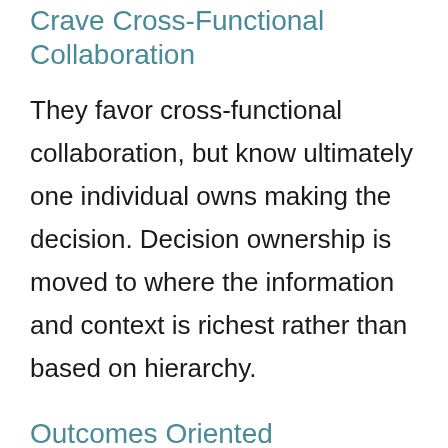Crave Cross-Functional Collaboration
They favor cross-functional collaboration, but know ultimately one individual owns making the decision. Decision ownership is moved to where the information and context is richest rather than based on hierarchy.
Outcomes Oriented
Speed of motion means little without results. Great teams measure progress based on outcomes like